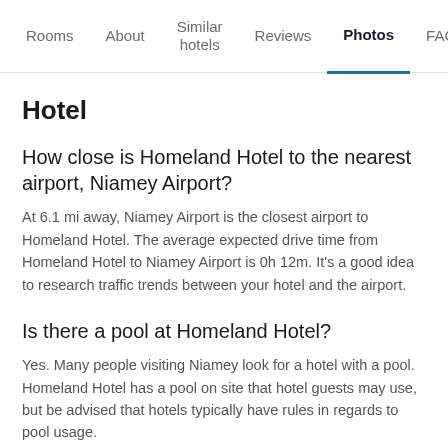Rooms | About | Similar hotels | Reviews | Photos | FAQ
Hotel
How close is Homeland Hotel to the nearest airport, Niamey Airport?
At 6.1 mi away, Niamey Airport is the closest airport to Homeland Hotel. The average expected drive time from Homeland Hotel to Niamey Airport is 0h 12m. It's a good idea to research traffic trends between your hotel and the airport.
Is there a pool at Homeland Hotel?
Yes. Many people visiting Niamey look for a hotel with a pool. Homeland Hotel has a pool on site that hotel guests may use, but be advised that hotels typically have rules in regards to pool usage.